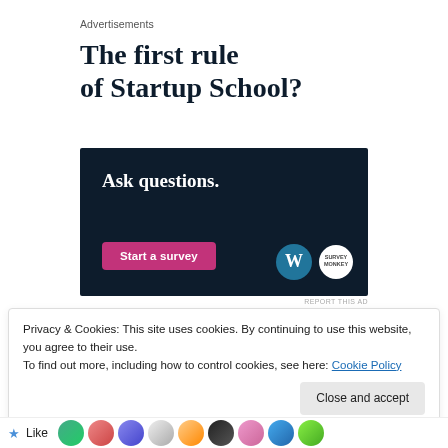Advertisements
The first rule of Startup School?
[Figure (infographic): Dark navy advertisement banner reading 'Ask questions.' with a pink 'Start a survey' button and WordPress and SurveyMonkey logos on the right side.]
REPORT THIS AD
Privacy & Cookies: This site uses cookies. By continuing to use this website, you agree to their use.
To find out more, including how to control cookies, see here: Cookie Policy
Close and accept
Like